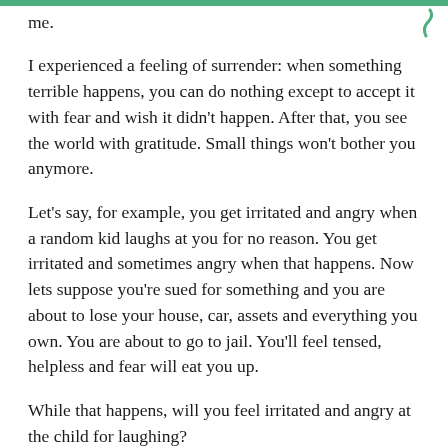me.
I experienced a feeling of surrender: when something terrible happens, you can do nothing except to accept it with fear and wish it didn't happen. After that, you see the world with gratitude. Small things won't bother you anymore.
Let's say, for example, you get irritated and angry when a random kid laughs at you for no reason. You get irritated and sometimes angry when that happens. Now lets suppose you're sued for something and you are about to lose your house, car, assets and everything you own. You are about to go to jail. You'll feel tensed, helpless and fear will eat you up.
While that happens, will you feel irritated and angry at the child for laughing?